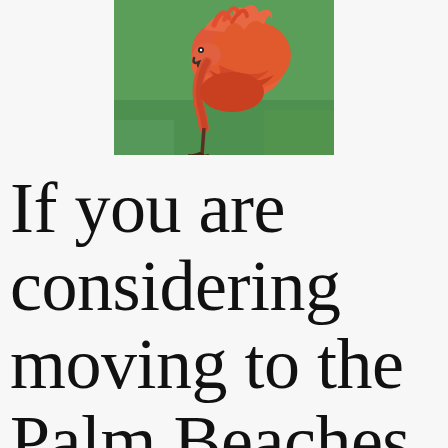[Figure (photo): A flamingo standing on one leg on green grass, with orange-red plumage and its head tucked in]
If you are considering moving to the Palm Beaches